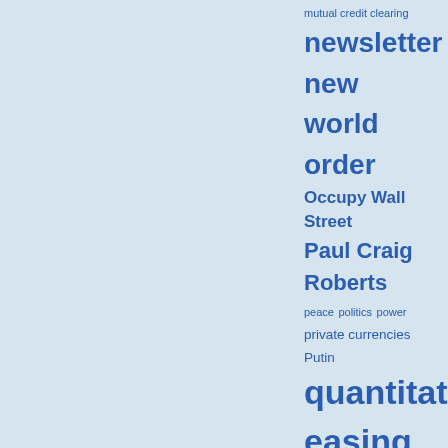mutual credit clearing
newsletter
new world order
Occupy Wall Street
Paul Craig Roberts
peace
politics
power
private currencies
Putin
quantitative easing
recession
Riegel
Ron Paul
Russia
sustainability
the butterfly society
the end of money
The Occupy movement
trade exchange
trade exchanges
usury
valun
webinar
ARCHIVES
Select Month
September 2012